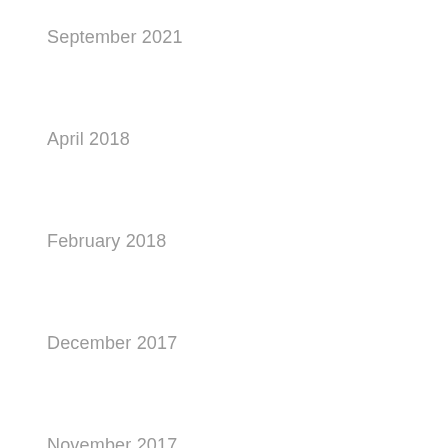September 2021
April 2018
February 2018
December 2017
November 2017
September 2017
July 2017
May 2017
April 2017
March 2017
February 2017